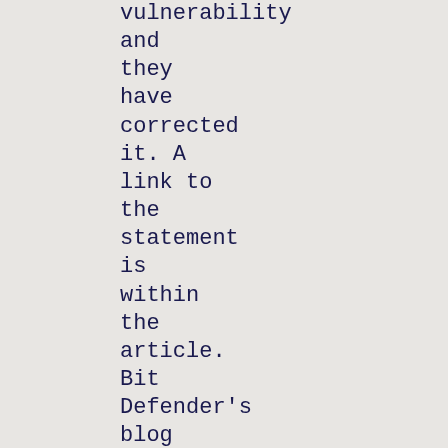vulnerability and they have corrected it. A link to the statement is within the article. Bit Defender's blog Hot for Security blogged this one. Utah Gun Exchange Confirms